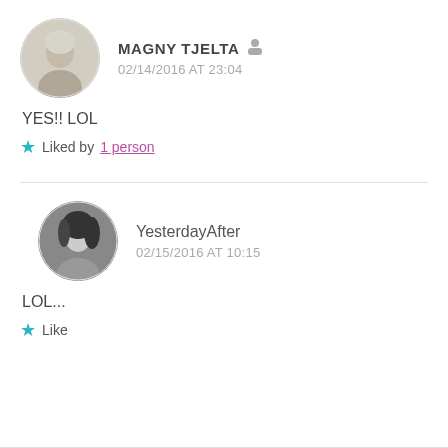[Figure (photo): Circular avatar photo of an older woman (Magny Tjelta), colorful background]
MAGNY TJELTA 02/14/2016 AT 23:04
YES!! LOL
★ Liked by 1 person
[Figure (photo): Circular avatar photo of a young dark-haired woman (YesterdayAfter), black and white]
YesterdayAfter 02/15/2016 AT 10:15
LOL...
★ Like